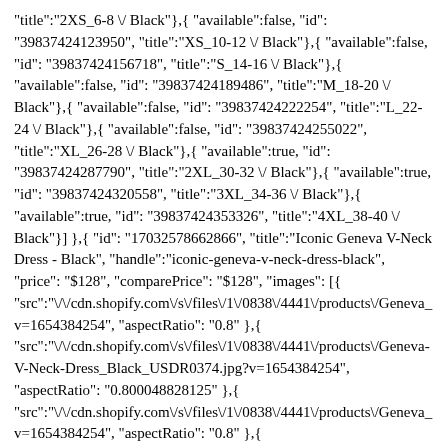"title":"2XS_6-8 \/ Black"},{ "available":false, "id": "39837424123950", "title":"XS_10-12 \/ Black"},{ "available":false, "id": "39837424156718", "title":"S_14-16 \/ Black"},{ "available":false, "id": "39837424189486", "title":"M_18-20 \/ Black"},{ "available":false, "id": "39837424222254", "title":"L_22-24 \/ Black"},{ "available":false, "id": "39837424255022", "title":"XL_26-28 \/ Black"},{ "available":true, "id": "39837424287790", "title":"2XL_30-32 \/ Black"},{ "available":true, "id": "39837424320558", "title":"3XL_34-36 \/ Black"},{ "available":true, "id": "39837424353326", "title":"4XL_38-40 \/ Black"}] },{ "id": "17032578662866", "title":"Iconic Geneva V-Neck Dress - Black", "handle":"iconic-geneva-v-neck-dress-black", "price": "$128", "comparePrice": "$128", "images": [{ "src":"\/\/cdn.shopify.com\/s\/files\/1\/0838\/4441\/products\/Geneva_v=1654384254", "aspectRatio": "0.8" },{ "src":"\/\/cdn.shopify.com\/s\/files\/1\/0838\/4441\/products\/Geneva-V-Neck-Dress_Black_USDR0374.jpg?v=1654384254", "aspectRatio": "0.800048828125" },{ "src":"\/\/cdn.shopify.com\/s\/files\/1\/0838\/4441\/products\/Geneva_v=1654384254", "aspectRatio": "0.8" },{ "src":"\/\/cdn.shopify.com\/s\/files\/1\/0838\/4441\/products\/Iconic_G_v=1654384254", "aspectRatio": "0.7999570723331187" },{ "src":"\/\/cdn.shopify.com\/s\/files\/1\/0838\/4441\/products\/Geneva_v=1654384254", "aspectRatio": "0.8000427715996579" },{